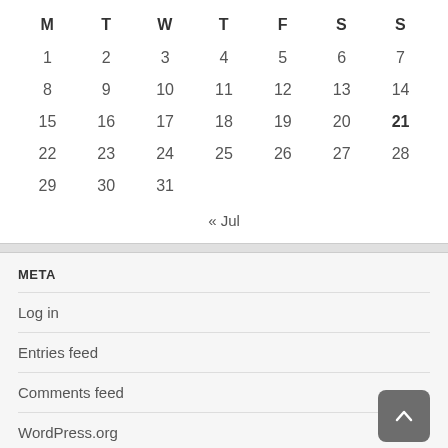| M | T | W | T | F | S | S |
| --- | --- | --- | --- | --- | --- | --- |
| 1 | 2 | 3 | 4 | 5 | 6 | 7 |
| 8 | 9 | 10 | 11 | 12 | 13 | 14 |
| 15 | 16 | 17 | 18 | 19 | 20 | 21 |
| 22 | 23 | 24 | 25 | 26 | 27 | 28 |
| 29 | 30 | 31 |  |  |  |  |
« Jul
META
Log in
Entries feed
Comments feed
WordPress.org